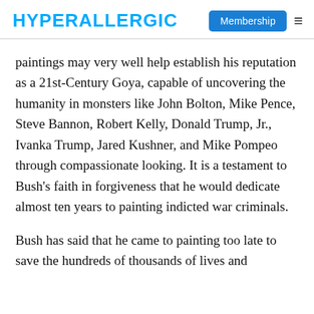HYPERALLERGIC | Membership
paintings may very well help establish his reputation as a 21st-Century Goya, capable of uncovering the humanity in monsters like John Bolton, Mike Pence, Steve Bannon, Robert Kelly, Donald Trump, Jr., Ivanka Trump, Jared Kushner, and Mike Pompeo through compassionate looking. It is a testament to Bush’s faith in forgiveness that he would dedicate almost ten years to painting indicted war criminals.
Bush has said that he came to painting too late to save the hundreds of thousands of lives and